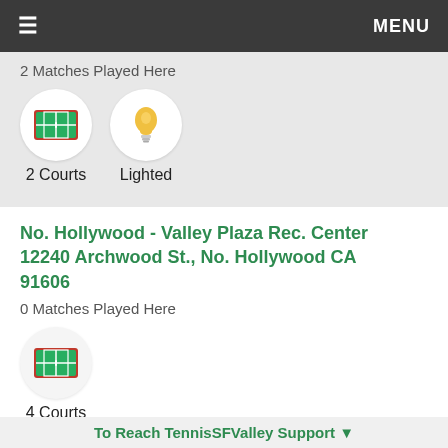≡  MENU
2 Matches Played Here
2 Courts  Lighted
No. Hollywood - Valley Plaza Rec. Center 12240 Archwood St., No. Hollywood CA 91606
0 Matches Played Here
4 Courts
To Reach TennisSFValley Support ▼